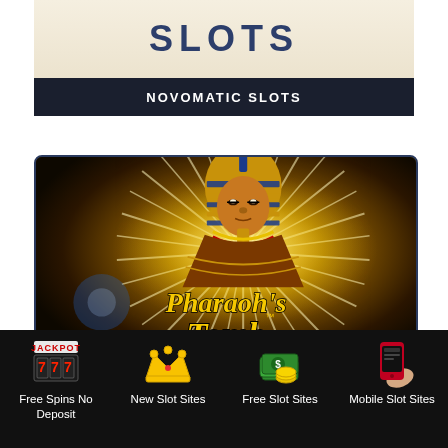[Figure (screenshot): Novomatic Slots card with 'SLOTS' text on cream background and dark label bar]
NOVOMATIC SLOTS
[Figure (screenshot): Pharaoh's Tomb slot machine game artwork showing Egyptian pharaoh on golden starburst background]
PHARAOH'S TOMB SLOT MACHINE
Free Spins No Deposit
New Slot Sites
Free Slot Sites
Mobile Slot Sites